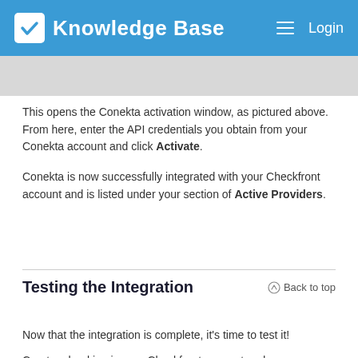Knowledge Base   Login
[Figure (screenshot): Gray bar placeholder image area at the top of the content section]
This opens the Conekta activation window, as pictured above. From here, enter the API credentials you obtain from your Conekta account and click Activate.
Conekta is now successfully integrated with your Checkfront account and is listed under your section of Active Providers.
Testing the Integration
Now that the integration is complete, it's time to test it!
Create a booking in your Checkfront account and use any credit card to process a payment. Remember, if you're